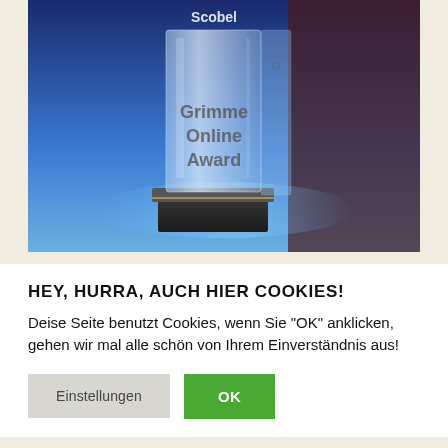[Figure (photo): A crystal glass award trophy with 'Grimme Online Award' engraved on it and 'Scobel' on top, placed on a blue-lit surface.]
HEY, HURRA, AUCH HIER COOKIES!
Deise Seite benutzt Cookies, wenn Sie "OK" anklicken, gehen wir mal alle schön von Ihrem Einverständnis aus!